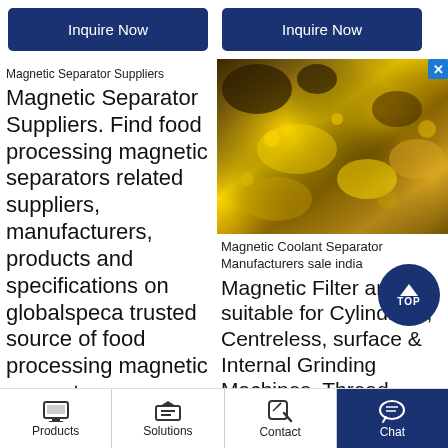Inquire Now
Inquire Now
Magnetic Separator Suppliers
Magnetic Separator Suppliers. Find food processing magnetic separators related suppliers, manufacturers, products and specifications on globalspeca trusted source of food processing magnetic separators
[Figure (photo): Close-up photo of gold ore or mineral nuggets with metallic yellow and dark coloring]
Magnetic Coolant Separator Manufacturers sale india
Magnetic Filter are suitable for Cylindrical, Centreless, surface & Internal Grinding Machines, Thread Grinders,
Products | Solutions | Contact | Chat